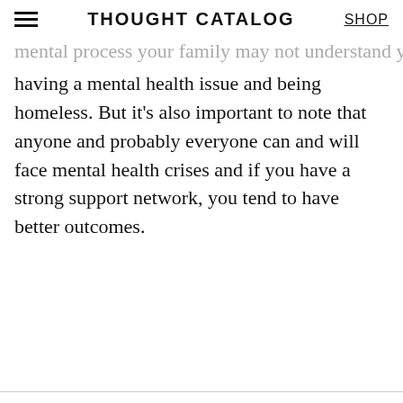THOUGHT CATALOG | SHOP
having a mental health issue and being homeless. But it's also important to note that anyone and probably everyone can and will face mental health crises and if you have a strong support network, you tend to have better outcomes.